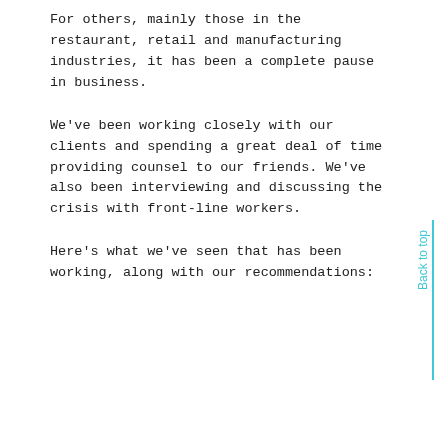For others, mainly those in the restaurant, retail and manufacturing industries, it has been a complete pause in business.
We've been working closely with our clients and spending a great deal of time providing counsel to our friends. We've also been interviewing and discussing the crisis with front-line workers.
Here's what we've seen that has been working, along with our recommendations: